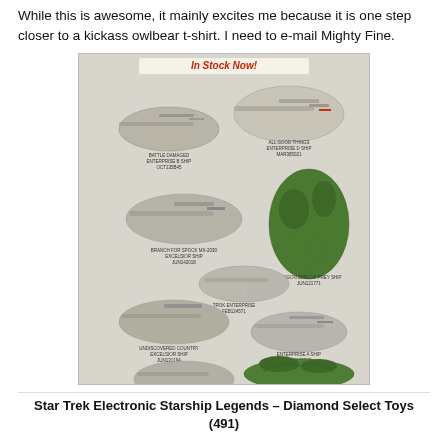While this is awesome, it mainly excites me because it is one step closer to a kickass owlbear t-shirt. I need to e-mail Mighty Fine.
[Figure (photo): Product advertisement showing multiple Star Trek Electronic Starship Legends models including Enterprise D Ship, Battle Damaged Enterprise B Ship, Klingon Bird of Prey Ship, Excelsior Ship, Trok Enterprise, Undiscovered Country Excelsior Ship, Enterprise A Ship, Enterprise B Ship, and Klingon Bird of Prey Partial Cloak Ship. Header reads 'In Stock Now!' in red italic text.]
Star Trek Electronic Starship Legends – Diamond Select Toys (491)